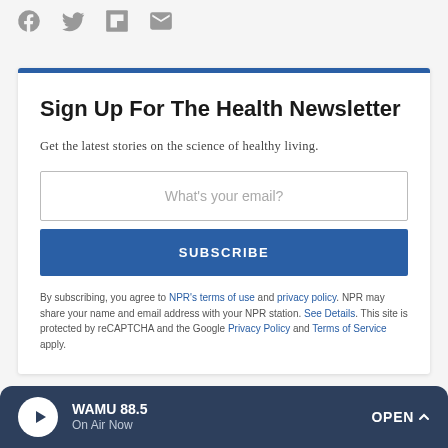[Figure (other): Social share icons: Facebook, Twitter, Flipboard, Email]
Sign Up For The Health Newsletter
Get the latest stories on the science of healthy living.
What's your email?
SUBSCRIBE
By subscribing, you agree to NPR's terms of use and privacy policy. NPR may share your name and email address with your NPR station. See Details. This site is protected by reCAPTCHA and the Google Privacy Policy and Terms of Service apply.
WAMU 88.5
On Air Now
OPEN